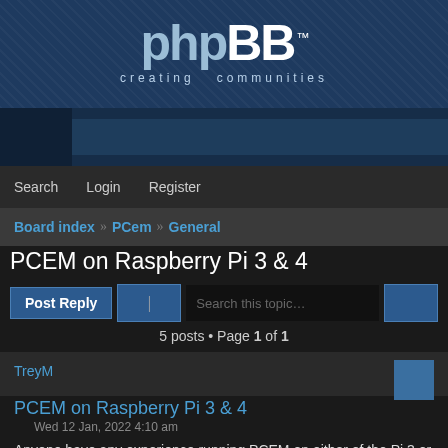[Figure (logo): phpBB logo with 'creating communities' tagline on dark blue textured background]
Search  Login  Register
Board index  PCem  General
PCEM on Raspberry Pi 3 & 4
Post Reply  |  Search this topic…
5 posts • Page 1 of 1
TreyM
PCEM on Raspberry Pi 3 & 4
Wed 12 Jan, 2022 4:10 am
Anyone have any experience running PCEM on either of the Pi 3 or Pi 4 SBCs?
From what I can tell, the Pi 4 seems capable of about a 486 class